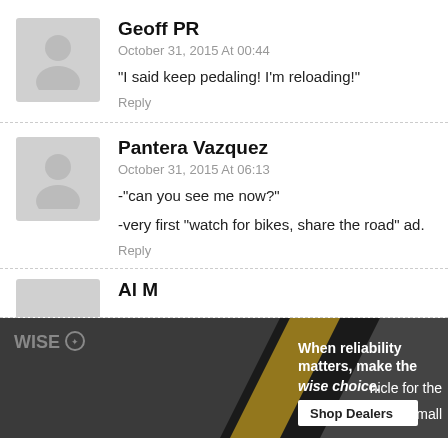Geoff PR
October 31, 2015 At 00:44
“I said keep pedaling! I’m reloading!”
Reply
Pantera Vazquez
October 31, 2015 At 06:13
-“can you see me now?”
-very first “watch for bikes, share the road” ad.
Reply
[Figure (photo): Advertisement banner: WISE brand firearms/ammunition products with text 'When reliability matters, make the wise choice.' and 'Shop Dealers' button]